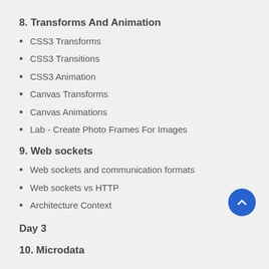8. Transforms And Animation
CSS3 Transforms
CSS3 Transitions
CSS3 Animation
Canvas Transforms
Canvas Animations
Lab - Create Photo Frames For Images
9. Web sockets
Web sockets and communication formats
Web sockets vs HTTP
Architecture Context
Day 3
10. Microdata